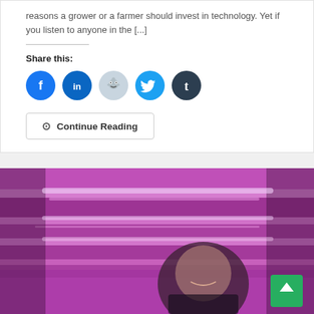reasons a grower or a farmer should invest in technology. Yet if you listen to anyone in the [...]
Share this:
[Figure (infographic): Social sharing buttons: Facebook, LinkedIn, Reddit, Twitter, Tumblr]
Continue Reading
[Figure (photo): A man smiling in an indoor vertical farm with pink/purple LED lighting illuminating trays of microgreens. A green back-to-top arrow button is in the bottom right corner.]